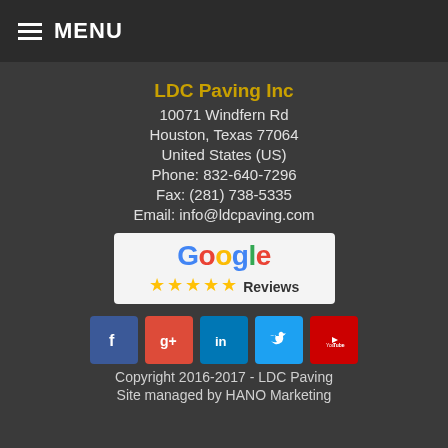MENU
LDC Paving Inc
10071 Windfern Rd
Houston, Texas 77064
United States (US)
Phone: 832-640-7296
Fax: (281) 738-5335
Email: info@ldcpaving.com
[Figure (logo): Google Reviews badge with 5 gold stars]
[Figure (infographic): Social media icons: Facebook, Google+, LinkedIn, Twitter, YouTube]
Copyright 2016-2017 - LDC Paving
Site managed by HANO Marketing